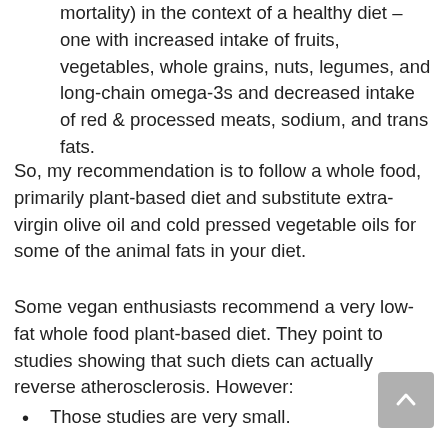mortality) in the context of a healthy diet – one with increased intake of fruits, vegetables, whole grains, nuts, legumes, and long-chain omega-3s and decreased intake of red & processed meats, sodium, and trans fats.
So, my recommendation is to follow a whole food, primarily plant-based diet and substitute extra-virgin olive oil and cold pressed vegetable oils for some of the animal fats in your diet.
Some vegan enthusiasts recommend a very low-fat whole food plant-based diet. They point to studies showing that such diets can actually reverse atherosclerosis. However:
Those studies are very small.